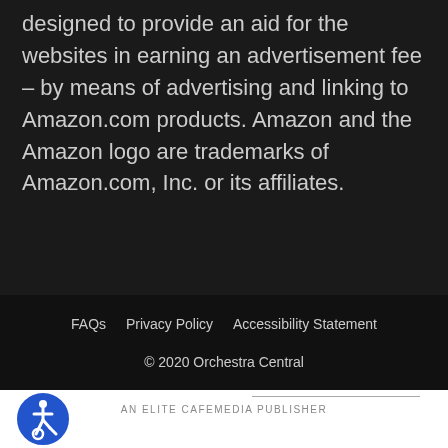designed to provide an aid for the websites in earning an advertisement fee – by means of advertising and linking to Amazon.com products. Amazon and the Amazon logo are trademarks of Amazon.com, Inc. or its affiliates.
FAQs   Privacy Policy   Accessibility Statement
© 2020 Orchestra Central
AN ELITE CAFEMEDIA PUBLISHER
[Figure (logo): Accessibility icon — blue circle with a wheelchair user symbol in white]